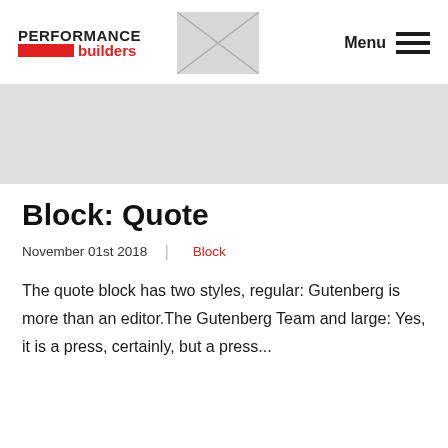PERFORMANCE builders | Menu
[Figure (photo): Grey placeholder image in header center area]
[Figure (illustration): Grey hero banner placeholder image]
Block: Quote
November 01st 2018  |  Block
The quote block has two styles, regular: Gutenberg is more than an editor.The Gutenberg Team and large: Yes, it is a press, certainly, but a press...